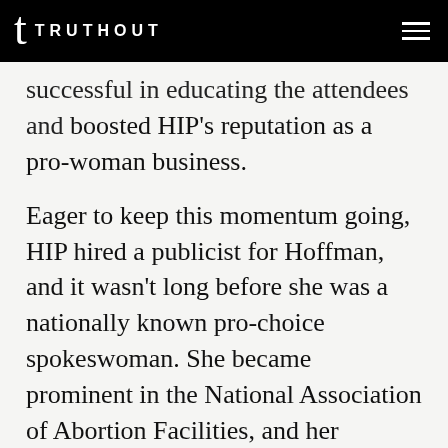TRUTHOUT
successful in educating the attendees and boosted HIP's reputation as a pro-woman business.
Eager to keep this momentum going, HIP hired a publicist for Hoffman, and it wasn't long before she was a nationally known pro-choice spokeswoman. She became prominent in the National Association of Abortion Facilities, and her involvement with NARAL Pro-Choice America and the now-defunct New York Pro-Choice Coalition led to her participation in